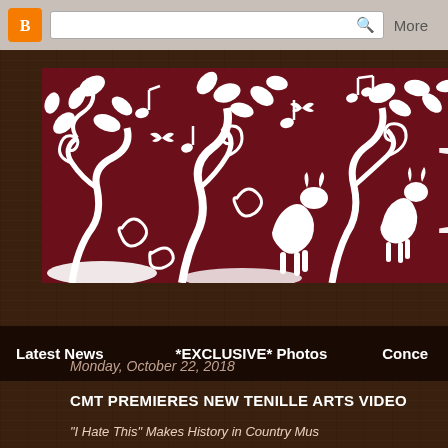Blogger navigation bar with search box and More link
[Figure (illustration): Dark maroon banner with white decorative swirling vine, leaf, and musical note silhouette design. Partial large letter 'L' visible at right edge.]
Latest News    *EXCLUSIVE* Photos    Conce...
Monday, October 22, 2018
CMT PREMIERES NEW TENILLE ARTS VIDEO
“I Hate This” Makes History in Country Mu…